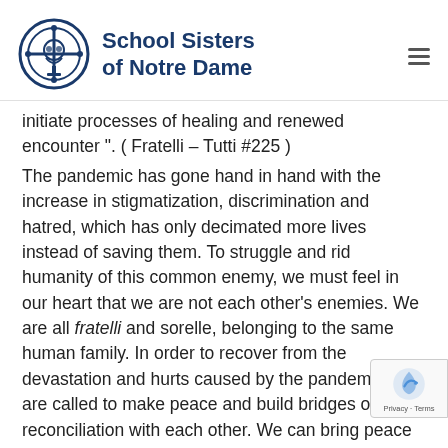[Figure (logo): School Sisters of Notre Dame logo with circular cross emblem and organization name]
initiate processes of healing and renewed encounter ". ( Fratelli – Tutti #225 )
The pandemic has gone hand in hand with the increase in stigmatization, discrimination and hatred, which has only decimated more lives instead of saving them. To struggle and rid humanity of this common enemy, we must feel in our heart that we are not each other's enemies. We are all fratelli and sorelle, belonging to the same human family. In order to recover from the devastation and hurts caused by the pandemic, we are called to make peace and build bridges of reconciliation with each other. We can bring peace by confronting acts of hate and spreading compassion, kindness and hope.